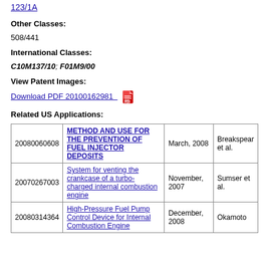123/1A
Other Classes:
508/441
International Classes:
C10M137/10; F01M9/00
View Patent Images:
Download PDF 20100162981
Related US Applications:
|  |  |  |  |
| --- | --- | --- | --- |
| 20080060608 | METHOD AND USE FOR THE PREVENTION OF FUEL INJECTOR DEPOSITS | March, 2008 | Breakspear et al. |
| 20070267003 | System for venting the crankcase of a turbo-charged internal combustion engine | November, 2007 | Sumser et al. |
| 20080314364 | High-Pressure Fuel Pump Control Device for Internal Combustion Engine | December, 2008 | Okamoto |